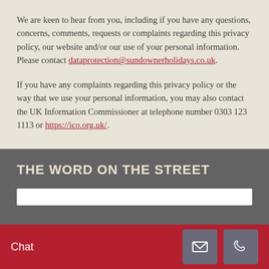We are keen to hear from you, including if you have any questions, concerns, comments, requests or complaints regarding this privacy policy, our website and/or our use of your personal information. Please contact dataprotection@sundownerholidays.co.uk.
If you have any complaints regarding this privacy policy or the way that we use your personal information, you may also contact the UK Information Commissioner at telephone number 0303 123 1113 or https://ico.org.uk/.
THE WORD ON THE STREET
Chat